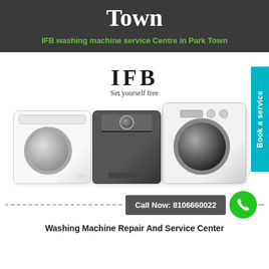Town
IFB washing machine service Centre in Park Town
[Figure (logo): IFB logo with tagline 'Set yourself free']
[Figure (photo): Three IFB washing machines: front-load white, top-load dark grey, and front-load silver/white]
Call Now: 8106660022
Washing Machine Repair And Service Center